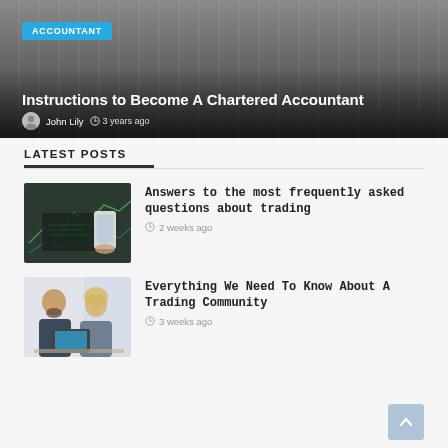[Figure (photo): Hero banner photo of a smiling woman accountant with binders/files in background, holding a tablet or calculator]
Instructions to Become A Chartered Accountant
John Lily  3 years ago
LATEST POSTS
[Figure (photo): Thumbnail photo of hands using a smartphone with a laptop showing trading charts in the background]
Answers to the most frequently asked questions about trading
2 weeks ago
[Figure (photo): Thumbnail photo of two people, a bearded man and a blonde woman, working at a laptop together]
Everything We Need To Know About A Trading Community
3 weeks ago